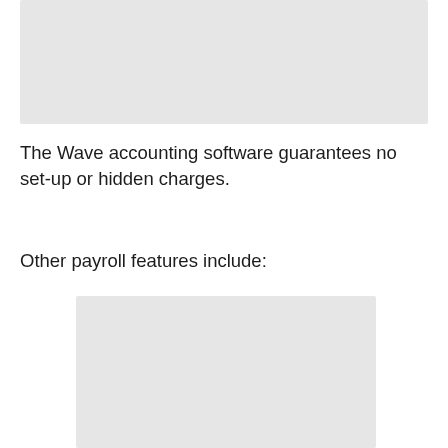[Figure (other): Placeholder image at the top of the page, light gray rectangle]
The Wave accounting software guarantees no set-up or hidden charges.
Other payroll features include:
[Figure (other): Placeholder image at the bottom of the page, light gray rectangle]